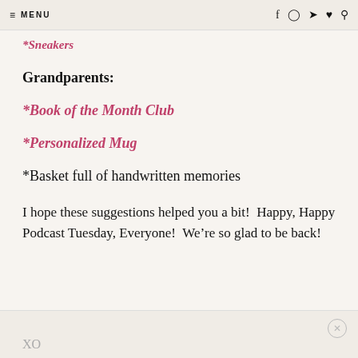≡ MENU  f  ◎  ✈  ♥  🔍
*Sneakers
Grandparents:
*Book of the Month Club
*Personalized Mug
*Basket full of handwritten memories
I hope these suggestions helped you a bit!  Happy, Happy Podcast Tuesday, Everyone!  We're so glad to be back!
XO